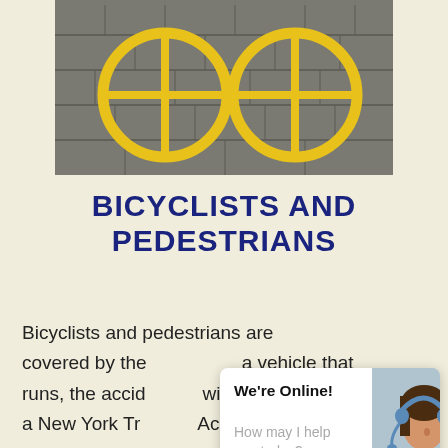[Figure (photo): Top-down photo of yellow bicycle lane markings painted on gray pavement/bricks]
BICYCLISTS AND PEDESTRIANS
Bicyclists and pedestrians are covered by the... a vehicle that... runs, the accident... within 24 hours... a New York Traffic Accident Attorney
[Figure (infographic): Chat widget overlay with a customer service representative wearing a headset. Text: We're Online! How may I help you today? Chat now button.]